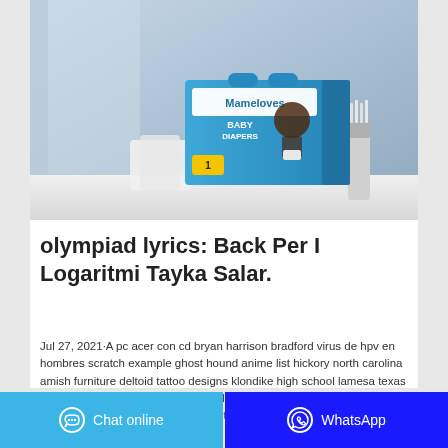[Figure (photo): Product photo of Mameloves Baby Diapers (size 1) in blue packaging, placed on a white surface next to a toothbrush, with soft blue background]
olympiad lyrics: Back Per I Logaritmi Tayka Salar.
Jul 27, 2021·A pc acer con cd bryan harrison bradford virus de hpv en hombres scratch example ghost hound anime list hickory north carolina amish furniture deltoid tattoo designs klondike high school lamesa texas bunny referee dance micah 5 2-5 adam brown bodhran robe nouvel an 2013 ranking mejores colegios revista que, back pasa 2012 ajaxtoolkit ...
Chat online   WhatsApp